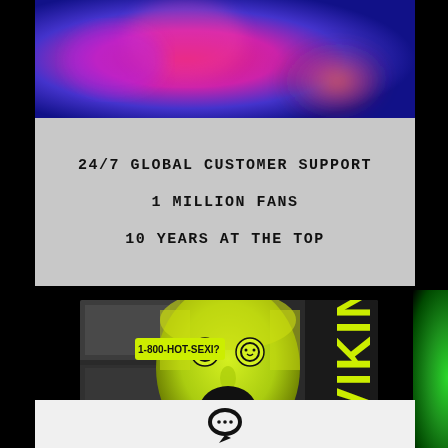[Figure (photo): Blurred colorful image with pink, purple, and blue tones at top]
24/7 GLOBAL CUSTOMER SUPPORT
1 MILLION FANS
10 YEARS AT THE TOP
[Figure (photo): Green-tinted photo of a woman with tongue out, smiley face eyes, with '1-800-HOT-SEXI?' sticker and 'VIKING' text on right side]
[Figure (logo): Chat bubble / message icon in black]